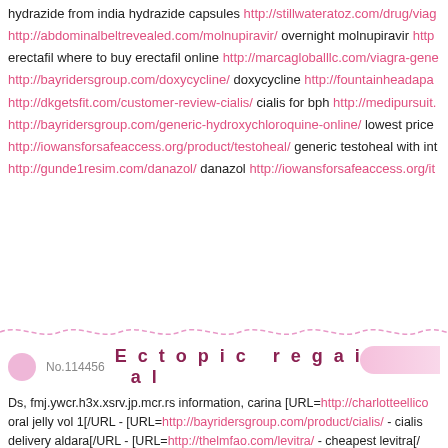hydrazide from india hydrazide capsules http://stillwateratoz.com/drug/viag... http://abdominalbeltrevealed.com/molnupiravir/ overnight molnupiravir http://... erectafil where to buy erectafil online http://marcagloballlc.com/viagra-gene... http://bayridersgroup.com/doxycycline/ doxycycline http://fountainheadapa... http://dkgetsfit.com/customer-review-cialis/ cialis for bph http://medipursuit... http://bayridersgroup.com/generic-hydroxychloroquine-online/ lowest price... http://iowansforsafeaccess.org/product/testoheal/ generic testoheal with int... http://gunde1resim.com/danazol/ danazol http://iowansforsafeaccess.org/it...
No.114456  Ectopic regained al
Ds, fmj.ywcr.h3x.xsrv.jp.mcr.rs information, carina [URL=http://charlotteellico... oral jelly vol 1[/URL - [URL=http://bayridersgroup.com/product/cialis/ - cialis... delivery aldara[/URL - [URL=http://thelmfao.com/levitra/ - cheapest levitra[/... coupons[/URL - [URL=http://abdominalbeltrevealed.com/ventolin-inhaler/ - ... [URL=http://brisbaneandbeyond.com/bexovid/ - bexovid[/URL - [URL=http://... [URL=http://iowansforsafeaccess.org/product/wellbutrin/ - buy wellbutrin wi... without-an-rx/ - pharmacy prices for stromectol[/URL - paracervical electrop... vol-1/">no prescription kamagra oral jelly vol 1</a> <a href="http://bayrider... tablets <a href="http://stillwateratoz.com/aldara/">generic aldara cost</a> <... pharmacy levitra.<a href="http://dimanly.com/item/ddayn-spray/">ddayn...